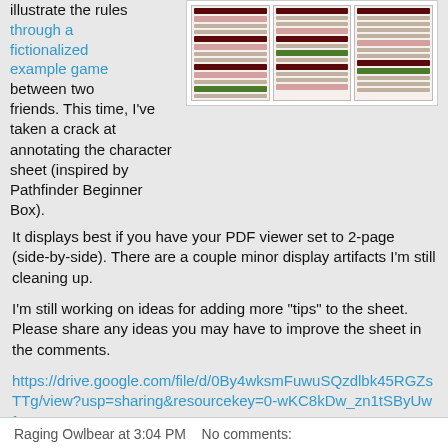illustrate the rules through a fictionalized example game between two friends. This time, I've taken a crack at annotating the character sheet (inspired by Pathfinder Beginner Box).
[Figure (screenshot): Screenshot of an annotated character sheet with colored rows and sections in red, green, and white.]
It displays best if you have your PDF viewer set to 2-page (side-by-side). There are a couple minor display artifacts I'm still cleaning up.
I'm still working on ideas for adding more "tips" to the sheet. Please share any ideas you may have to improve the sheet in the comments.
https://drive.google.com/file/d/0By4wksmFuwuSQzdlbk45RGZsTTg/view?usp=sharing&resourcekey=0-wKC8kDw_zn1tSByUwf2aw
Raging Owlbear at 3:04 PM   No comments: